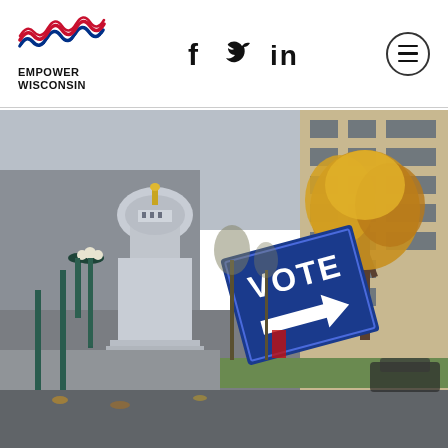[Figure (logo): Empower Wisconsin logo with red/blue wave design and bold text EMPOWER WISCONSIN below]
[Figure (other): Social media icons: f (Facebook), bird (Twitter), in (LinkedIn)]
[Figure (other): Hamburger menu button inside a circle]
[Figure (photo): Street-level photo near Wisconsin State Capitol building with a blue VOTE arrow sign in the foreground, autumn trees, street lamps, and urban buildings in the background]